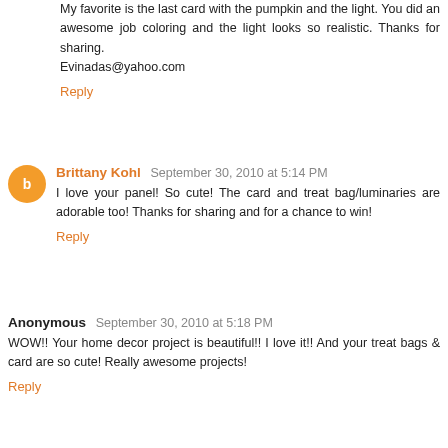My favorite is the last card with the pumpkin and the light. You did an awesome job coloring and the light looks so realistic. Thanks for sharing.
Evinadas@yahoo.com
Reply
Brittany Kohl  September 30, 2010 at 5:14 PM
I love your panel! So cute! The card and treat bag/luminaries are adorable too! Thanks for sharing and for a chance to win!
Reply
Anonymous  September 30, 2010 at 5:18 PM
WOW!! Your home decor project is beautiful!! I love it!! And your treat bags & card are so cute! Really awesome projects!
Reply